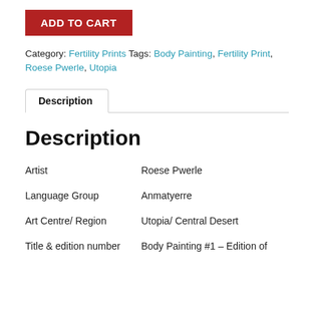ADD TO CART
Category: Fertility Prints Tags: Body Painting, Fertility Print, Roese Pwerle, Utopia
Description
Description
|  |  |
| --- | --- |
| Artist | Roese Pwerle |
| Language Group | Anmatyerre |
| Art Centre/ Region | Utopia/ Central Desert |
| Title & edition number | Body Painting #1 – Edition of |